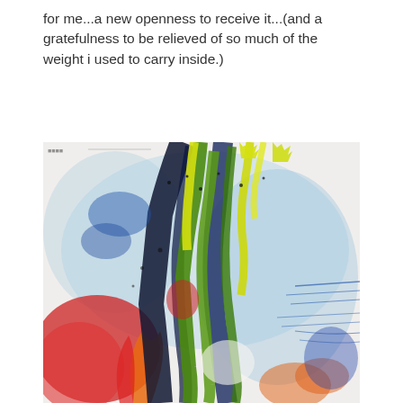for me...a new openness to receive it...(and a gratefulness to be relieved of so much of the weight i used to carry inside.)
[Figure (illustration): Abstract expressionist painting with drips and splashes of blue, green, yellow, red, black and white paint on canvas. Bold vertical strokes of dark blue and green dominate the center, with yellow drips and splatters, red shapes in the lower left, and gestural blue lines on the right side.]